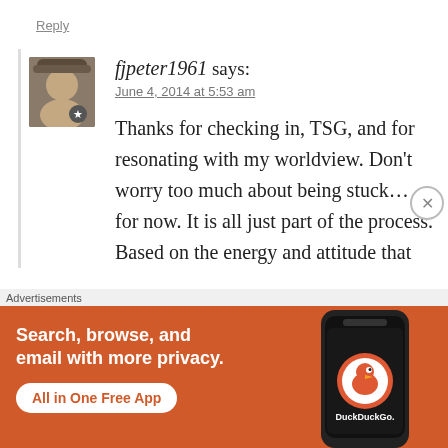Reply
fjpeter1961 says:
June 4, 2014 at 5:53 am
Thanks for checking in, TSG, and for resonating with my worldview. Don't worry too much about being stuck… for now. It is all just part of the process. Based on the energy and attitude that
Advertisements
[Figure (infographic): DuckDuckGo advertisement banner: orange background with text 'Search, browse, and email with more privacy. All in One Free App' and a phone showing DuckDuckGo app icon]